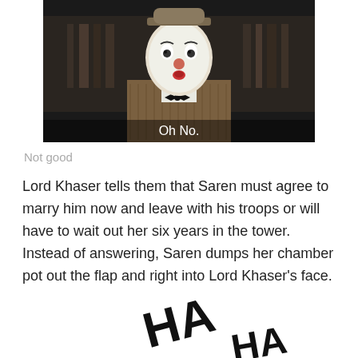[Figure (photo): A person dressed in mime/clown makeup with white face paint, wearing a brown tweed jacket, bow tie, and bowler hat, standing in a dark room with bookshelves in the background. White subtitle text at the bottom reads 'Oh No.']
Not good
Lord Khaser tells them that Saren must agree to marry him now and leave with his troops or will have to wait out her six years in the tower. Instead of answering, Saren dumps her chamber pot out the flap and right into Lord Khaser's face.
[Figure (illustration): Large bold 'HA HA' text displayed at angles, suggesting laughter, rendered in large black letters on a white background]